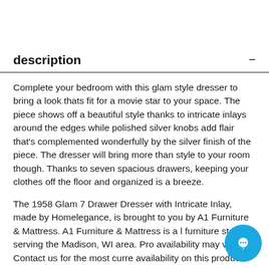description
Complete your bedroom with this glam style dresser to bring a look thats fit for a movie star to your space. The piece shows off a beautiful style thanks to intricate inlays around the edges while polished silver knobs add flair that's complemented wonderfully by the silver finish of the piece. The dresser will bring more than style to your room though. Thanks to seven spacious drawers, keeping your clothes off the floor and organized is a breeze.
The 1958 Glam 7 Drawer Dresser with Intricate Inlay, made by Homelegance, is brought to you by A1 Furniture & Mattress. A1 Furniture & Mattress is a l furniture store, serving the Madison, WI area. Pro availability may vary. Contact us for the most curre availability on this product.